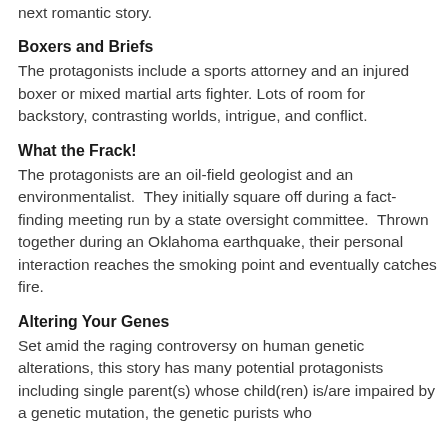next romantic story.
Boxers and Briefs
The protagonists include a sports attorney and an injured boxer or mixed martial arts fighter. Lots of room for backstory, contrasting worlds, intrigue, and conflict.
What the Frack!
The protagonists are an oil-field geologist and an environmentalist.  They initially square off during a fact-finding meeting run by a state oversight committee.  Thrown together during an Oklahoma earthquake, their personal interaction reaches the smoking point and eventually catches fire.
Altering Your Genes
Set amid the raging controversy on human genetic alterations, this story has many potential protagonists including single parent(s) whose child(ren) is/are impaired by a genetic mutation, the genetic purists who